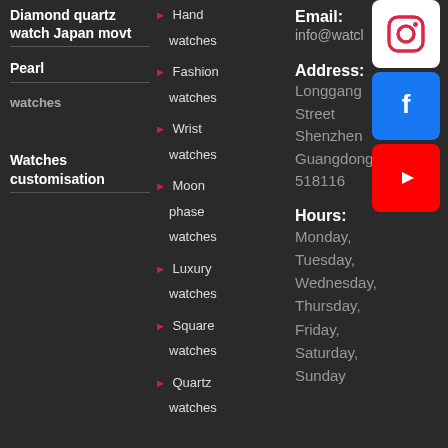Diamond quartz watch Japan movt
Pearl watches
Watches customisation
Hand watches
Fashion watches
Wrist watches
Moon phase watches
Luxury watches
Square watches
Quartz watches
Email: info@watcl
Address: Longgang Street Shenzhen Guangdong 518116
Hours: Monday, Tuesday, Wednesday, Thursday, Friday, Saturday, Sunday
[Figure (logo): Instagram icon - white Instagram logo on white background]
[Figure (logo): Facebook icon - white Facebook logo on blue background]
[Figure (logo): YouTube icon - white play button on red background]